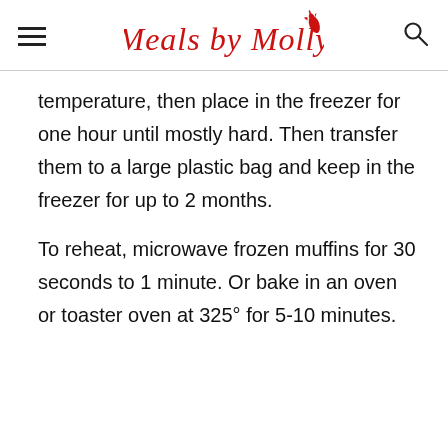Meals by Molly
temperature, then place in the freezer for one hour until mostly hard. Then transfer them to a large plastic bag and keep in the freezer for up to 2 months.
To reheat, microwave frozen muffins for 30 seconds to 1 minute. Or bake in an oven or toaster oven at 325° for 5-10 minutes.